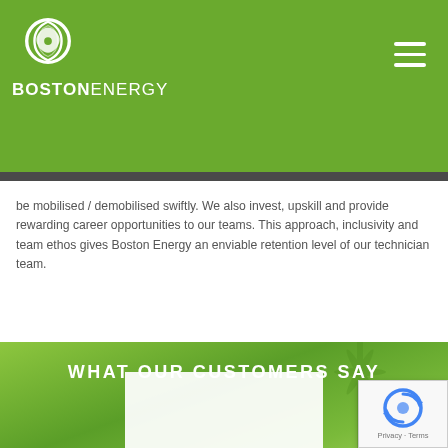BOSTON ENERGY
be mobilised / demobilised swiftly. We also invest, upskill and provide rewarding career opportunities to our teams. This approach, inclusivity and team ethos gives Boston Energy an enviable retention level of our technician team.
WHAT OUR CUSTOMERS SAY
[Figure (photo): White content card partially visible at bottom of green background section]
[Figure (logo): Google reCAPTCHA badge with Privacy and Terms links]